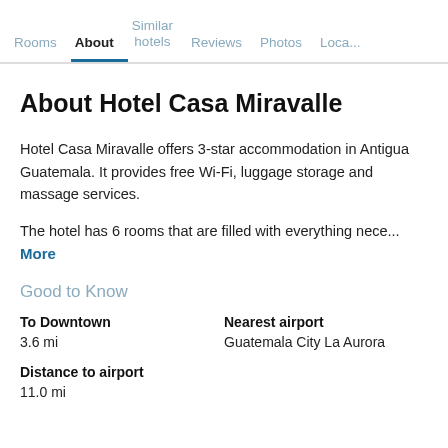Rooms | About | Similar hotels | Reviews | Photos | Loca...
About Hotel Casa Miravalle
Hotel Casa Miravalle offers 3-star accommodation in Antigua Guatemala. It provides free Wi-Fi, luggage storage and massage services.
The hotel has 6 rooms that are filled with everything nece... More
Good to Know
To Downtown
3.6 mi
Nearest airport
Guatemala City La Aurora
Distance to airport
11.0 mi